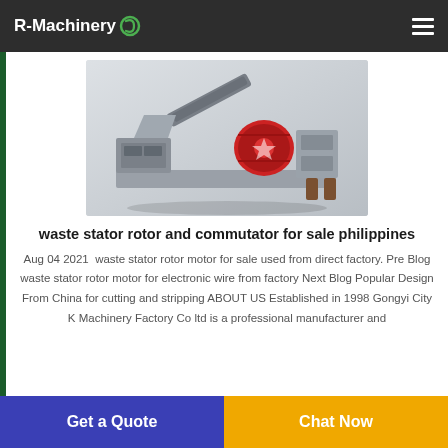R-Machinery
[Figure (photo): Industrial machine — waste stator rotor and commutator recycling/processing equipment, rendered in 3D, showing grey and red mechanical components with conveyor]
waste stator rotor and commutator for sale philippines
Aug 04 2021  waste stator rotor motor for sale used from direct factory. Pre Blog waste stator rotor motor for electronic wire from factory Next Blog Popular Design From China for cutting and stripping ABOUT US Established in 1998 Gongyi City K Machinery Factory Co ltd is a professional manufacturer and